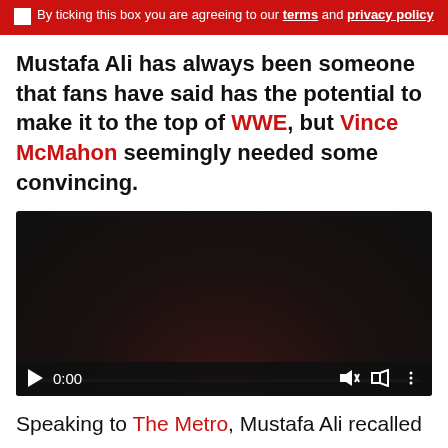By ticking this box you are agreeing to our terms and privacy policy
Mustafa Ali has always been someone that fans have said has the potential to make it to the top of WWE, but Vince McMahon seemingly needed some convincing.
[Figure (screenshot): Embedded video player showing a dark/black video thumbnail with playback controls at the bottom: play button, time display 0:00, mute icon, fullscreen icon, and options icon. Progress bar shown near bottom.]
Speaking to The Metro, Mustafa Ali recalled